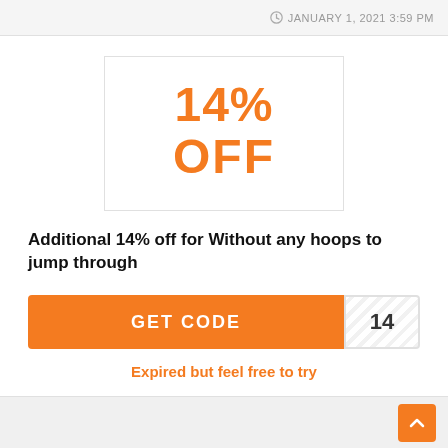JANUARY 1, 2021 3:59 PM
[Figure (other): Coupon box showing 14% OFF in large orange bold text on a white background with a light border]
Additional 14% off for Without any hoops to jump through
GET CODE  14
Expired but feel free to try